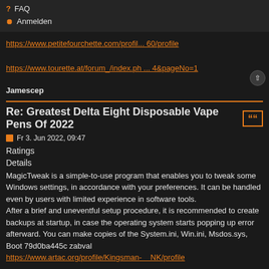FAQ
Anmelden
https://www.petitefourchette.com/profil... 60/profile
https://www.tourette.at/forum_/index.ph ... 4&pageNo=1
Jamescep
Re: Greatest Delta Eight Disposable Vape Pens Of 2022
Fr 3. Jun 2022, 09:47
Ratings
Details
MagicTweak is a simple-to-use program that enables you to tweak some Windows settings, in accordance with your preferences. It can be handled even by users with limited experience in software tools.
After a brief and uneventful setup procedure, it is recommended to create backups at startup, in case the operating system starts popping up error afterward. You can make copies of the System.ini, Win.ini, Msdos.sys, Boot 79d0ba445c zabval
https://www.artac.org/profile/Kingsman-    NK/profile